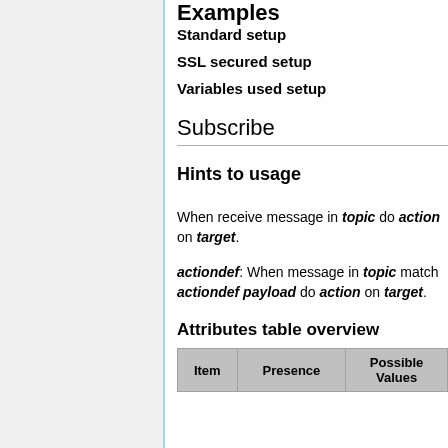Examples
Standard setup
SSL secured setup
Variables used setup
Subscribe
Hints to usage
When receive message in topic do action on target.
actiondef: When message in topic match actiondef payload do action on target.
Attributes table overview
| Item | Presence | Possible Values |
| --- | --- | --- |